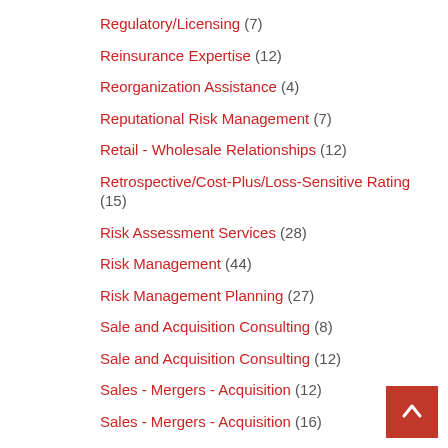Regulatory/Licensing (7)
Reinsurance Expertise (12)
Reorganization Assistance (4)
Reputational Risk Management (7)
Retail - Wholesale Relationships (12)
Retrospective/Cost-Plus/Loss-Sensitive Rating (15)
Risk Assessment Services (28)
Risk Management (44)
Risk Management Planning (27)
Sale and Acquisition Consulting (8)
Sale and Acquisition Consulting (12)
Sales - Mergers - Acquisition (12)
Sales - Mergers - Acquisition (16)